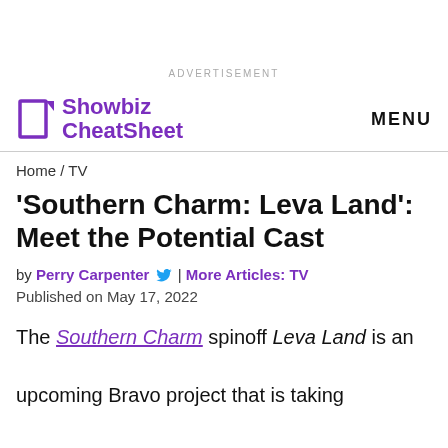ADVERTISEMENT
Showbiz CheatSheet | MENU
Home / TV
'Southern Charm: Leva Land': Meet the Potential Cast
by Perry Carpenter | More Articles: TV
Published on May 17, 2022
The Southern Charm spinoff Leva Land is an upcoming Bravo project that is taking